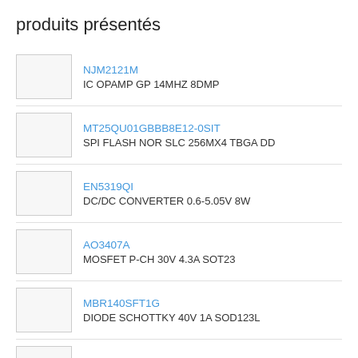produits présentés
NJM2121M
IC OPAMP GP 14MHZ 8DMP
MT25QU01GBBB8E12-0SIT
SPI FLASH NOR SLC 256MX4 TBGA DD
EN5319QI
DC/DC CONVERTER 0.6-5.05V 8W
AO3407A
MOSFET P-CH 30V 4.3A SOT23
MBR140SFT1G
DIODE SCHOTTKY 40V 1A SOD123L
TAJA226K010RNJ
CAP TANT 22UF 10V 10% 1206
SML-310MTT86
LED GREEN CLEAR 0603 SMD